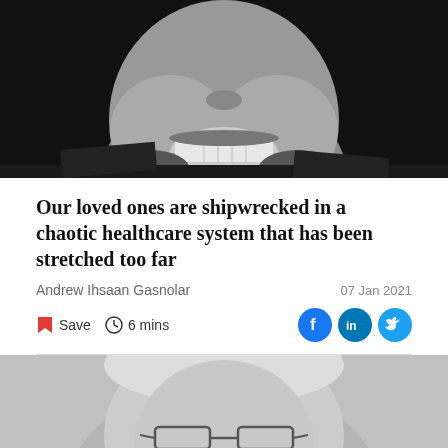[Figure (photo): Black and white close-up photo of a man smiling, showing teeth, wearing a dark jacket]
Our loved ones are shipwrecked in a chaotic healthcare system that has been stretched too far
Andrew Ihsaan Gasnolar
07 Jan 2021
Save  6 mins
[Figure (photo): Black and white close-up photo of an elderly man smiling, wearing rectangular glasses and a suit]